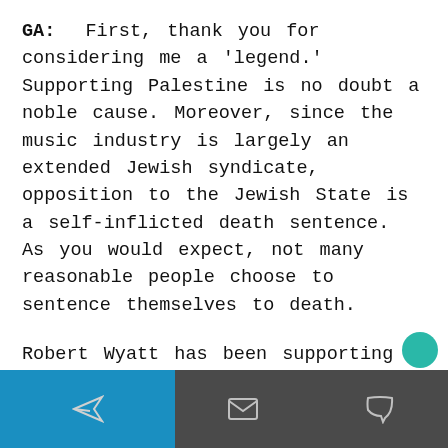GA:  First, thank you for considering me a 'legend.' Supporting Palestine is no doubt a noble cause. Moreover, since the music industry is largely an extended Jewish syndicate, opposition to the Jewish State is a self-inflicted death sentence. As you would expect, not many reasonable people choose to sentence themselves to death.

Robert Wyatt has been supporting Palestine because he is the most authentic mench around. Waters performed in Israel a few years ago, he witnessed the oppression, he was moved
[send icon] [mail icon] [chat icon]